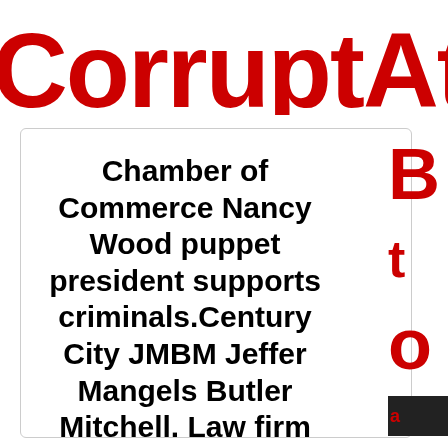CorruptAtto
Chamber of Commerce Nancy Wood puppet president supports criminals.Century City JMBM Jeffer Mangels Butler Mitchell. Law firm ceo. Owner Bernard Gans. trustee of my mother.